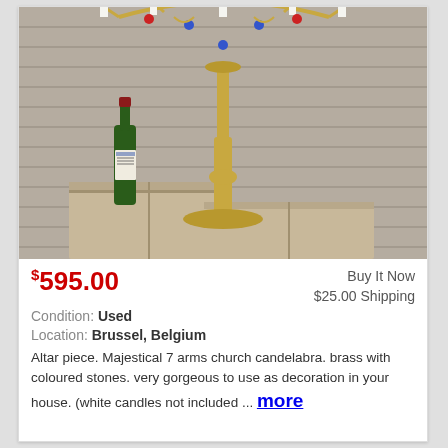[Figure (photo): A large brass 7-arm church candelabra with colored stones and white candles, displayed on a wooden crate next to a wine bottle, against a white brick wall background.]
$595.00
Buy It Now
$25.00 Shipping
Condition: Used
Location: Brussel, Belgium
Altar piece. Majestical 7 arms church candelabra. brass with coloured stones. very gorgeous to use as decoration in your house. (white candles not included ... more